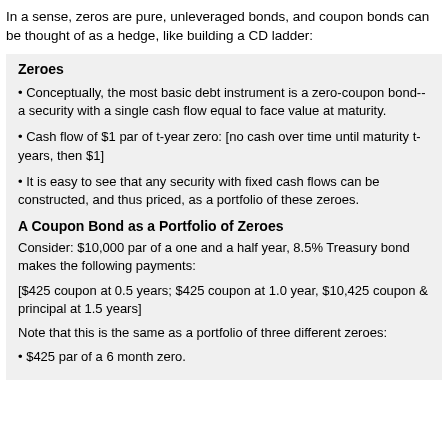In a sense, zeros are pure, unleveraged bonds, and coupon bonds can be thought of as a hedge, like building a CD ladder:
Zeroes
Conceptually, the most basic debt instrument is a zero-coupon bond--a security with a single cash flow equal to face value at maturity.
Cash flow of $1 par of t-year zero: [no cash over time until maturity t-years, then $1]
It is easy to see that any security with fixed cash flows can be constructed, and thus priced, as a portfolio of these zeroes.
A Coupon Bond as a Portfolio of Zeroes
Consider: $10,000 par of a one and a half year, 8.5% Treasury bond makes the following payments:
[$425 coupon at 0.5 years; $425 coupon at 1.0 year, $10,425 coupon & principal at 1.5 years]
Note that this is the same as a portfolio of three different zeroes:
$425 par of a 6 month zero.